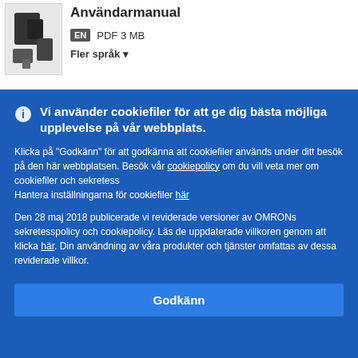Användarmanual
EN PDF 3 MB
Fler språk
Vi använder cookiefiler för att ge dig bästa möjliga upplevelse på vår webbplats.
Klicka på "Godkänn" för att godkänna att cookiefiler används under ditt besök på den här webbplatsen. Besök vår cookiepolicy om du vill veta mer om cookiefiler och sekretess
Hantera inställningarna för cookiefiler här
Den 28 maj 2018 publicerade vi reviderade versioner av OMRONs sekretesspolicy och cookiepolicy. Läs de uppdaterade villkoren genom att klicka här. Din användning av våra produkter och tjänster omfattas av dessa reviderade villkor.
Godkänn